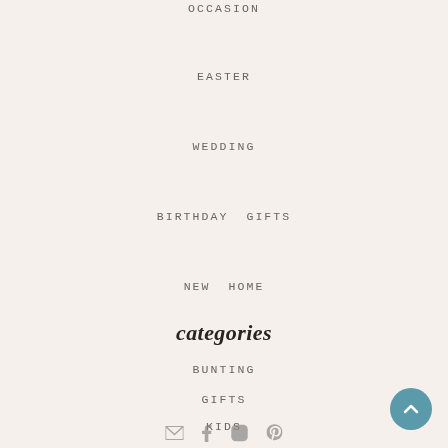OCCASION
EASTER
WEDDING
BIRTHDAY GIFTS
NEW HOME
categories
BUNTING
GIFTS
KIDS
social icons and scroll-to-top button